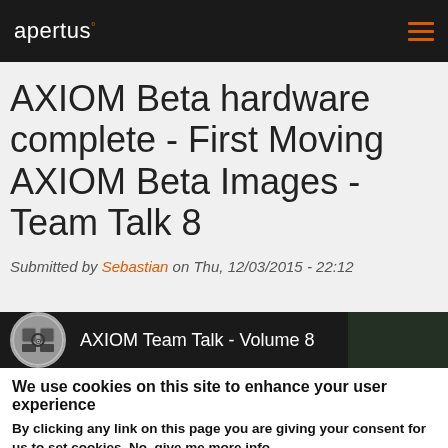apertus°
AXIOM Beta hardware complete - First Moving AXIOM Beta Images - Team Talk 8
Submitted by Sebastian on Thu, 12/03/2015 - 22:12
[Figure (screenshot): AXIOM Team Talk - Volume 8 video thumbnail with circular logo on dark background]
We use cookies on this site to enhance your user experience
By clicking any link on this page you are giving your consent for us to set cookies. No, give me more info
OK, I agree   No, thanks